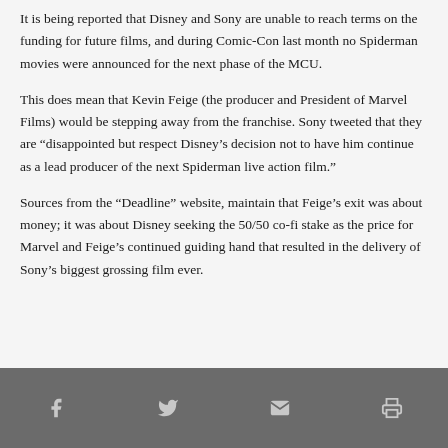It is being reported that Disney and Sony are unable to reach terms on the funding for future films, and during Comic-Con last month no Spiderman movies were announced for the next phase of the MCU.
This does mean that Kevin Feige (the producer and President of Marvel Films) would be stepping away from the franchise. Sony tweeted that they are “disappointed but respect Disney’s decision not to have him continue as a lead producer of the next Spiderman live action film.”
Sources from the “Deadline” website, maintain that Feige’s exit was about money; it was about Disney seeking the 50/50 co-fi stake as the price for Marvel and Feige’s continued guiding hand that resulted in the delivery of Sony’s biggest grossing film ever.
Social share icons: Facebook, Twitter, Email, Print